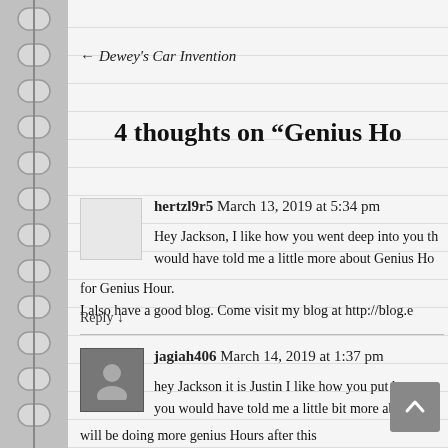← Dewey's Car Invention
4 thoughts on "Genius Ho..."
hertzl9r5 March 13, 2019 at 5:34 pm
Hey Jackson, I like how you went deep into you th... would have told me a little more about Genius Ho... for Genius Hour.
I also have a good blog. Come visit my blog at http://blog.e...
Reply ↓
jagiah406 March 14, 2019 at 1:37 pm
hey Jackson it is Justin I like how you put how yo... you would have told me a little bit more about ab... will be doing more genius Hours after this